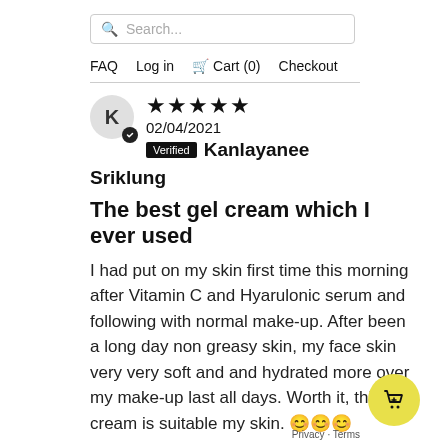Search...
FAQ  Log in  Cart (0)  Checkout
K  ★★★★★  02/04/2021  Verified  Kanlayanee Sriklung
The best gel cream which I ever used
I had put on my skin first time this morning after Vitamin C and Hyarulonic serum and following with normal make-up. After been a long day non greasy skin, my face skin very very soft and and hydrated more over my make-up last all days. Worth it, this gel cream is suitable my skin. 😊😊😊